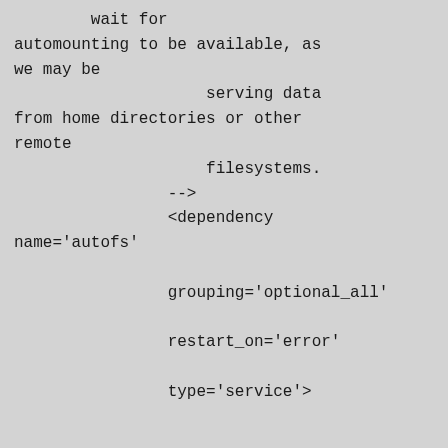wait for automounting to be available, as we may be
                    serving data from home directories or other remote
                    filesystems.
                -->
                <dependency name='autofs'

                grouping='optional_all'

                restart_on='error'

                type='service'>